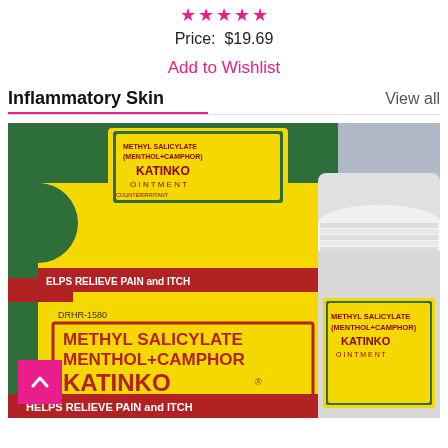★★★★★
Price: $19.69
Add to Wishlist
Inflammatory Skin
View all
[Figure (photo): Photo of Katinko Ointment product box and jar. Yellow and green packaging with red text reading METHYL SALICYLATE MENTHOL+CAMPHOR KATINKO OINTMENT. Red banner reads HELPS RELIEVE PAIN and ITCH. DRHR-1580. 80mcg/75mcg/26mcg PER GRAM OINTMENT COUNTERIRRITANT.]